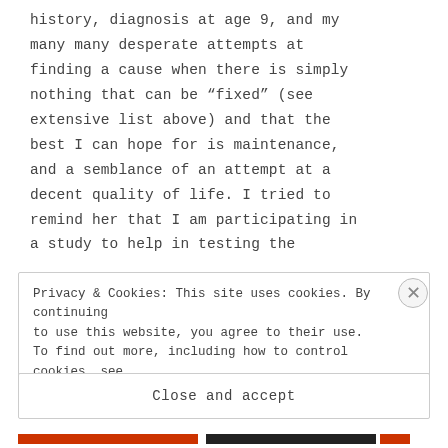history, diagnosis at age 9, and my many many desperate attempts at finding a cause when there is simply nothing that can be “fixed” (see extensive list above) and that the best I can hope for is maintenance, and a semblance of an attempt at a decent quality of life. I tried to remind her that I am participating in a study to help in testing the
Privacy & Cookies: This site uses cookies. By continuing to use this website, you agree to their use. To find out more, including how to control cookies, see here: Cookie Policy
Close and accept